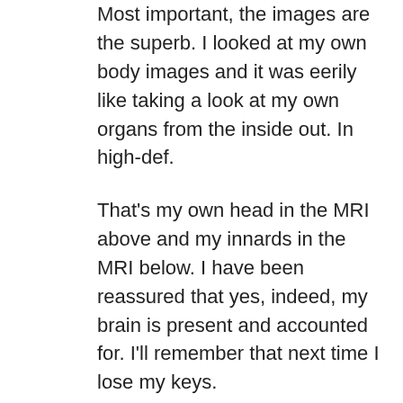Most important, the images are the superb.  I looked at my own body images and it was eerily like taking a look at my own organs from the inside out.  In high-def.
That's my own head in the MRI above and my innards in the MRI below.  I have been reassured that yes, indeed, my brain is present and accounted for.  I'll remember that next time I lose my keys.
Getting this M
[Figure (photo): Black and white MRI scan image showing internal abdominal organs — liver and other organs visible in cross-section on a black background.]